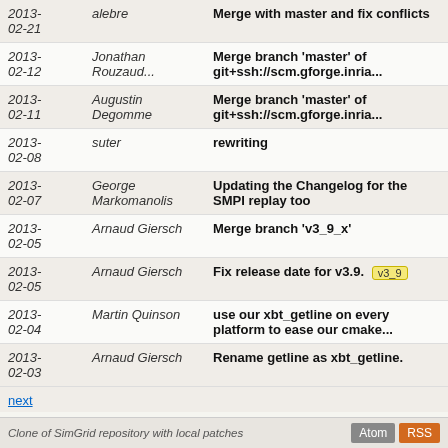| Date | Author | Message |
| --- | --- | --- |
| 2013-02-21 | alebre | Merge with master and fix conflicts |
| 2013-02-12 | Jonathan Rouzaud... | Merge branch 'master' of git+ssh://scm.gforge.inria... |
| 2013-02-11 | Augustin Degomme | Merge branch 'master' of git+ssh://scm.gforge.inria... |
| 2013-02-08 | suter | rewriting |
| 2013-02-07 | George Markomanolis | Updating the Changelog for the SMPI replay too |
| 2013-02-05 | Arnaud Giersch | Merge branch 'v3_9_x' |
| 2013-02-05 | Arnaud Giersch | Fix release date for v3.9. [v3_9] |
| 2013-02-04 | Martin Quinson | use our xbt_getline on every platform to ease our cmake... |
| 2013-02-03 | Arnaud Giersch | Rename getline as xbt_getline. |
next
Clone of SimGrid repository with local patches